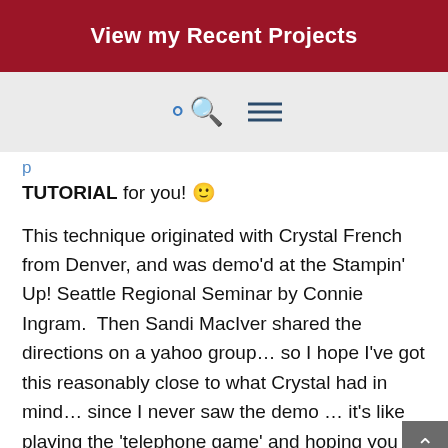View my Recent Projects
TUTORIAL for you! 🙂
This technique originated with Crystal French from Denver, and was demo'd at the Stampin' Up! Seattle Regional Seminar by Connie Ingram.  Then Sandi MacIver shared the directions on a yahoo group… so I hope I've got this reasonably close to what Crystal had in mind… since I never saw the demo … it's like playing the 'telephone game' and hoping you got it reasonably correct after the